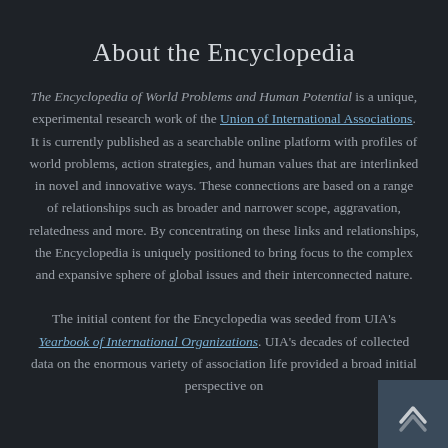About the Encyclopedia
The Encyclopedia of World Problems and Human Potential is a unique, experimental research work of the Union of International Associations. It is currently published as a searchable online platform with profiles of world problems, action strategies, and human values that are interlinked in novel and innovative ways. These connections are based on a range of relationships such as broader and narrower scope, aggravation, relatedness and more. By concentrating on these links and relationships, the Encyclopedia is uniquely positioned to bring focus to the complex and expansive sphere of global issues and their interconnected nature.
The initial content for the Encyclopedia was seeded from UIA's Yearbook of International Organizations. UIA's decades of collected data on the enormous variety of association life provided a broad initial perspective on